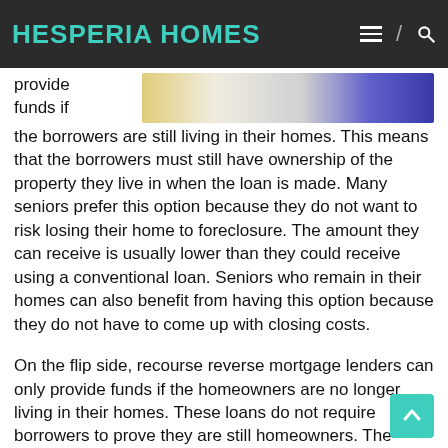HESPERIA HOMES
[Figure (photo): Partial image of coins/money and calculator buttons visible at the top right of the content area]
provide funds if the borrowers are still living in their homes. This means that the borrowers must still have ownership of the property they live in when the loan is made. Many seniors prefer this option because they do not want to risk losing their home to foreclosure. The amount they can receive is usually lower than they could receive using a conventional loan. Seniors who remain in their homes can also benefit from having this option because they do not have to come up with closing costs.
On the flip side, recourse reverse mortgage lenders can only provide funds if the homeowners are no longer living in their homes. These loans do not require borrowers to prove they are still homeowners. The amount that they receive is based on how much equity they have built up in their home. Lenders look at the debt to income ratio and remaining mortgage payments to determine the maximum amount of money they will allow the